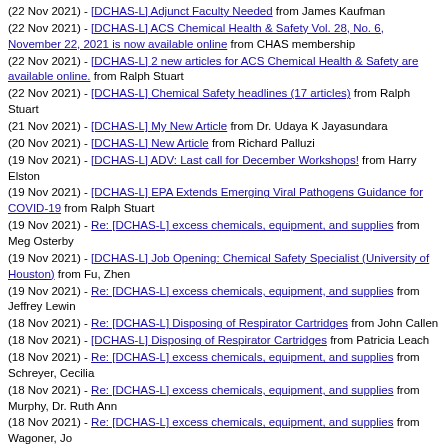(22 Nov 2021) - [DCHAS-L] Adjunct Faculty Needed from James Kaufman
(22 Nov 2021) - [DCHAS-L] ACS Chemical Health & Safety Vol. 28, No. 6, November 22, 2021 is now available online from CHAS membership
(22 Nov 2021) - [DCHAS-L] 2 new articles for ACS Chemical Health & Safety are available online. from Ralph Stuart
(22 Nov 2021) - [DCHAS-L] Chemical Safety headlines (17 articles) from Ralph Stuart
(21 Nov 2021) - [DCHAS-L] My New Article from Dr. Udaya K Jayasundara
(20 Nov 2021) - [DCHAS-L] New Article from Richard Palluzi
(19 Nov 2021) - [DCHAS-L] ADV: Last call for December Workshops! from Harry Elston
(19 Nov 2021) - [DCHAS-L] EPA Extends Emerging Viral Pathogens Guidance for COVID-19 from Ralph Stuart
(19 Nov 2021) - Re: [DCHAS-L] excess chemicals, equipment, and supplies from Meg Osterby
(19 Nov 2021) - [DCHAS-L] Job Opening: Chemical Safety Specialist (University of Houston) from Fu, Zhen
(19 Nov 2021) - Re: [DCHAS-L] excess chemicals, equipment, and supplies from Jeffrey Lewin
(18 Nov 2021) - Re: [DCHAS-L] Disposing of Respirator Cartridges from John Callen
(18 Nov 2021) - [DCHAS-L] Disposing of Respirator Cartridges from Patricia Leach
(18 Nov 2021) - Re: [DCHAS-L] excess chemicals, equipment, and supplies from Schreyer, Cecilia
(18 Nov 2021) - Re: [DCHAS-L] excess chemicals, equipment, and supplies from Murphy, Dr. Ruth Ann
(18 Nov 2021) - Re: [DCHAS-L] excess chemicals, equipment, and supplies from Wagoner, Jo
(18 Nov 2021) - Re: [DCHAS-L] excess chemicals, equipment, and supplies from Niteen Vaidya
(18 Nov 2021) - Re: [DCHAS-L] shipment of uncharacterized samples from